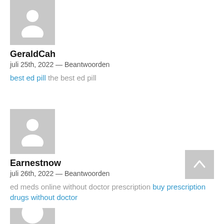[Figure (illustration): Grey placeholder avatar icon for user GeraldCah]
GeraldCah
juli 25th, 2022 — Beantwoorden
best ed pill the best ed pill
[Figure (illustration): Grey placeholder avatar icon for user Earnestnow]
Earnestnow
juli 26th, 2022 — Beantwoorden
ed meds online without doctor prescription buy prescription drugs without doctor
[Figure (illustration): Scroll-to-top button with upward chevron arrow]
[Figure (illustration): Grey placeholder avatar icon for third user (partially visible)]